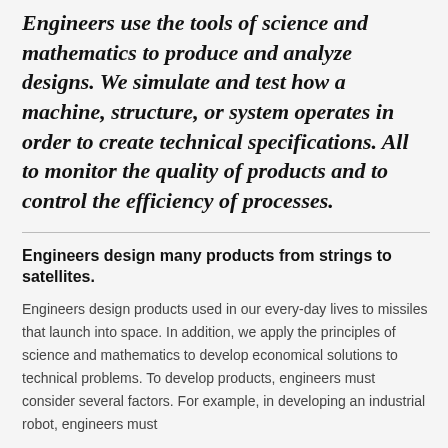Engineers use the tools of science and mathematics to produce and analyze designs. We simulate and test how a machine, structure, or system operates in order to create technical specifications. All to monitor the quality of products and to control the efficiency of processes.
Engineers design many products from strings to satellites.
Engineers design products used in our every-day lives to missiles that launch into space. In addition, we apply the principles of science and mathematics to develop economical solutions to technical problems. To develop products, engineers must consider several factors. For example, in developing an industrial robot, engineers must